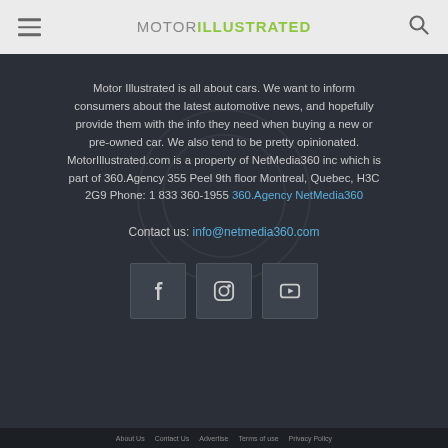MOTOR ILLUSTRATED
Motor Illustrated is all about cars. We want to inform consumers about the latest automotive news, and hopefully provide them with the info they need when buying a new or pre-owned car. We also tend to be pretty opinionated. MotorIllustrated.com is a property of NetMedia360 inc which is part of 360.Agency 355 Peel 9th floor Montreal, Quebec, H3C 2G9 Phone: 1 833 360-1955 360.Agency NetMedia360
Contact us: info@netmedia360.com
[Figure (infographic): Three social media icon buttons: Facebook (f), Instagram (camera), YouTube (play button)]
About Us   Contact Us   Advertise   Terms of use   Privacy Policy